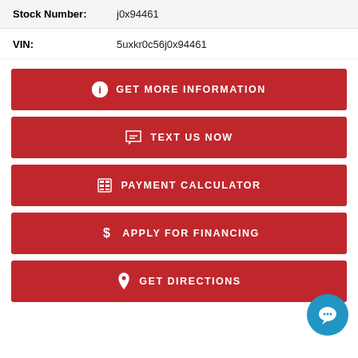| Stock Number: | j0x94461 |
| VIN: | 5uxkr0c56j0x94461 |
GET MORE INFORMATION
TEXT US NOW
PAYMENT CALCULATOR
APPLY FOR FINANCING
GET DIRECTIONS
[Figure (illustration): Blue circular chat bubble icon in bottom right corner]